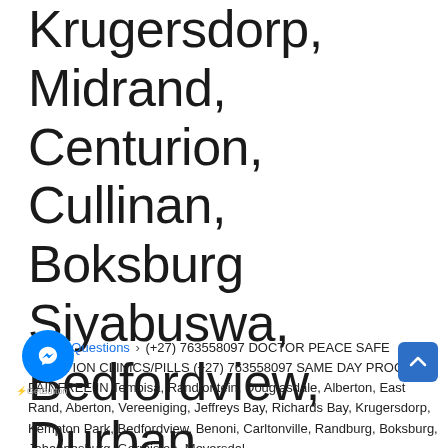Krugersdorp, Midrand, Centurion, Cullinan, Boksburg Siyabuswa, Bedfordview, Durban, Roodepoort, East Rand, Soweto, Bethlehem, Alberton, Wynberg, Camperdown, Springs, Pretoria
DWQA Questions › (+27) 763558097 DOCTOR PEACE SAFE ABORTION CLINICS/PILLS (+27) 763558097 SAME DAY PROCESS PAIN FREE IN Tembisa, Randfontein, Douglasdale, Alberton, East Rand, Alberton, Vereeniging, Jeffreys Bay, Richards Bay, Krugersdorp, Kempton Park, Bedfordview, Benoni, Carltonville, Randburg, Boksburg, Johannesburg, Germiston, Meyersdal